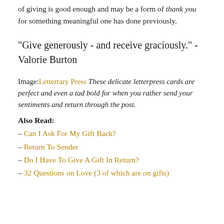of giving is good enough and may be a form of thank you for something meaningful one has done previously.
"Give generously - and receive graciously." - Valorie Burton
Image: Letterrary Press These delicate letterpress cards are perfect and even a tad bold for when you rather send your sentiments and return through the post.
Also Read:
- Can I Ask For My Gift Back?
- Return To Sender
- Do I Have To Give A Gift In Return?
- 32 Questions on Love (3 of which are on gifts)